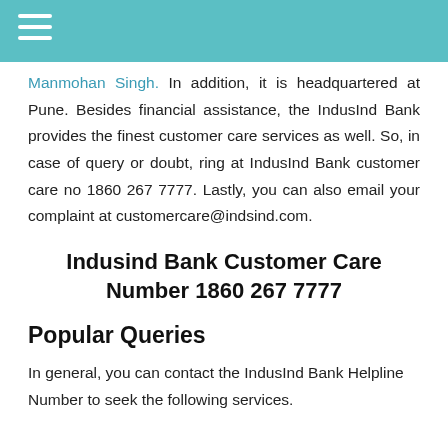Manmohan Singh. In addition, it is headquartered at Pune. Besides financial assistance, the IndusInd Bank provides the finest customer care services as well. So, in case of query or doubt, ring at IndusInd Bank customer care no 1860 267 7777. Lastly, you can also email your complaint at customercare@indsind.com.
Indusind Bank Customer Care Number 1860 267 7777
Popular Queries
In general, you can contact the IndusInd Bank Helpline Number to seek the following services.